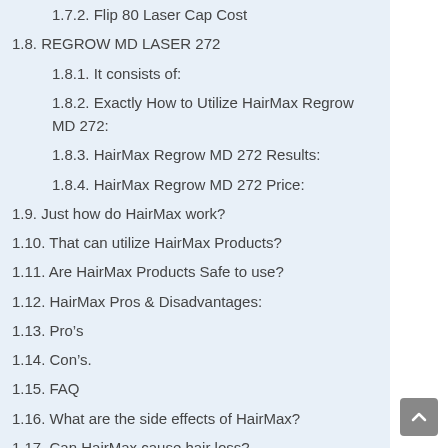1.7.2. Flip 80 Laser Cap Cost
1.8. REGROW MD LASER 272
1.8.1. It consists of:
1.8.2. Exactly How to Utilize HairMax Regrow MD 272:
1.8.3. HairMax Regrow MD 272 Results:
1.8.4. HairMax Regrow MD 272 Price:
1.9. Just how do HairMax work?
1.10. That can utilize HairMax Products?
1.11. Are HairMax Products Safe to use?
1.12. HairMax Pros & Disadvantages:
1.13. Pro’s
1.14. Con’s.
1.15. FAQ
1.16. What are the side effects of HairMax?
1.17. Can HairMax cause hair loss?
1.18. Does HairMax laser really work?
1.19. How long does it take for HairMax to work?
1.20. Do laser combs regrow hair?